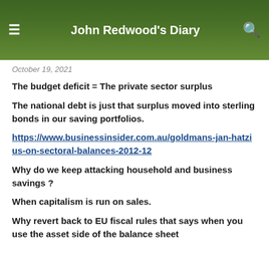John Redwood's Diary
October 19, 2021
The budget deficit = The private sector surplus
The national debt is just that surplus moved into sterling bonds in our saving portfolios.
https://www.businessinsider.com.au/goldmans-jan-hatzius-on-sectoral-balances-2012-12
Why do we keep attacking household and business savings ?
When capitalism is run on sales.
Why revert back to EU fiscal rules that says when you use the asset side of the balance sheet